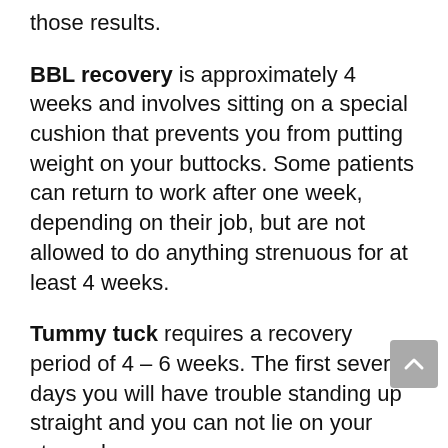those results.
BBL recovery is approximately 4 weeks and involves sitting on a special cushion that prevents you from putting weight on your buttocks. Some patients can return to work after one week, depending on their job, but are not allowed to do anything strenuous for at least 4 weeks.
Tummy tuck requires a recovery period of 4 – 6 weeks. The first several days you will have trouble standing up straight and you can not lie on your stomach.
One of the largest obstacles of combining BBL and tummy tuck is that there is no way for you to sit, rest or sleep in a position that